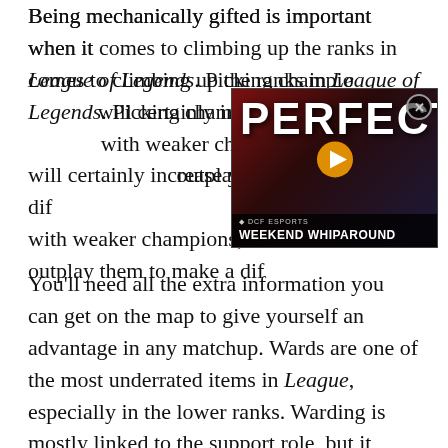Being mechanically gifted is important when it comes to climbing up the ranks in League of Legends. Picking champions that suit the meta will certainly increase your chances. Playing with weaker champions, but knowing how to outplay them to make a dif...
[Figure (screenshot): Video advertisement overlay showing 'PERFECT' text with a person in a gaming jersey, play button icon, DCF Esports branding, and 'WEEKEND WHIPAROUND' title bar. Has a close (X) button in top right corner.]
You'll need all the extra information you can get on the map to give yourself an advantage in any matchup. Wards are one of the most underrated items in League, especially in the lower ranks. Warding is mostly linked to the support role, but it doesn't mean that you can't place your own wards to make sure you don't get ambushed by the enemy